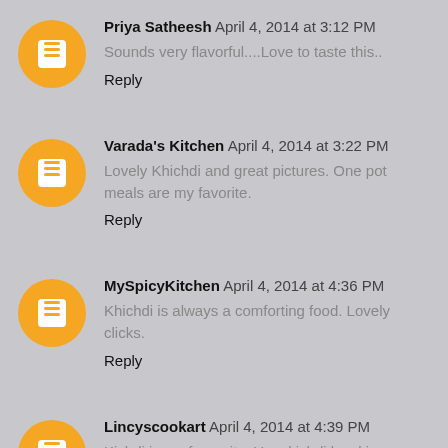Priya Satheesh April 4, 2014 at 3:12 PM
Sounds very flavorful....Love to taste this..
Reply
Varada's Kitchen April 4, 2014 at 3:22 PM
Lovely Khichdi and great pictures. One pot meals are my favorite.
Reply
MySpicyKitchen April 4, 2014 at 4:36 PM
Khichdi is always a comforting food. Lovely clicks.
Reply
Lincyscookart April 4, 2014 at 4:39 PM
Kichdi is my favourite. Your kichdi bowl is so inviting